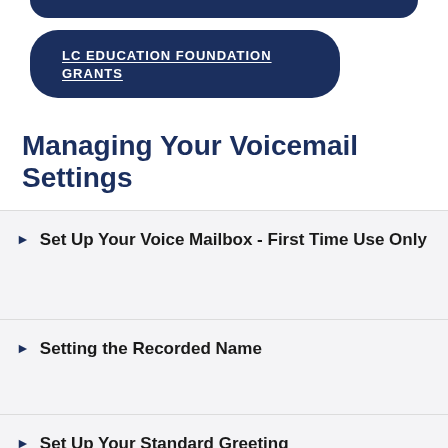[Figure (other): Partial dark navy rounded button visible at top of page (cropped)]
LC EDUCATION FOUNDATION GRANTS
Managing Your Voicemail Settings
Set Up Your Voice Mailbox - First Time Use Only
Setting the Recorded Name
Set Up Your Standard Greeting
Accessing Voicemail